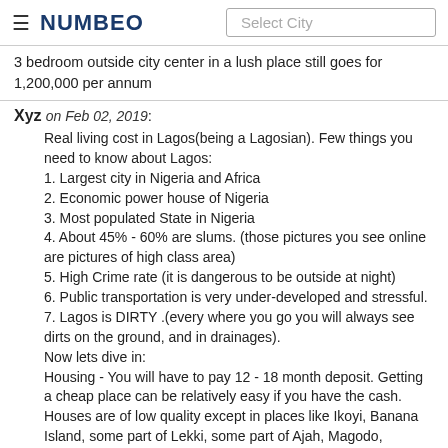≡ NUMBEO  [Select City]
3 bedroom outside city center in a lush place still goes for 1,200,000 per annum
Xyz on Feb 02, 2019:
Real living cost in Lagos(being a Lagosian). Few things you need to know about Lagos:
1. Largest city in Nigeria and Africa
2. Economic power house of Nigeria
3. Most populated State in Nigeria
4. About 45% - 60% are slums. (those pictures you see online are pictures of high class area)
5. High Crime rate (it is dangerous to be outside at night)
6. Public transportation is very under-developed and stressful.
7. Lagos is DIRTY .(every where you go you will always see dirts on the ground, and in drainages).
Now lets dive in:
Housing - You will have to pay 12 - 18 month deposit. Getting a cheap place can be relatively easy if you have the cash.
Houses are of low quality except in places like Ikoyi, Banana Island, some part of Lekki, some part of Ajah, Magodo, Surulere.
Renting a room will cost N5000 per month, renting a small apartment will cost N10000 - N15000 per month, renting a two bedroom is N25000-N30k per month.
Clothing - Lagos being a warm place, you can get by with N5000 on average. But if you want luxury, you can spend N15000